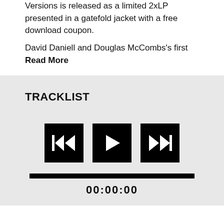Versions is released as a limited 2xLP presented in a gatefold jacket with a free download coupon.
David Daniell and Douglas McCombs's first
Read More
TRACKLIST
[Figure (other): Audio player controls: rewind button, play button, fast-forward button, progress bar at 00:00:00]